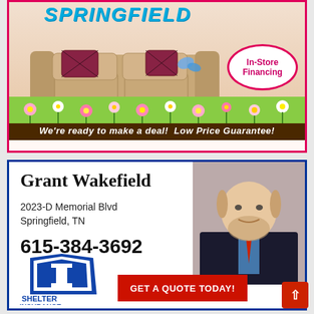[Figure (illustration): Furniture store ad for Springfield showing a beige sofa with patterned pillows, spring flowers at the bottom, an In-Store Financing oval badge, and the text SPRINGFIELD at the top in blue italic letters]
We're ready to make a deal!  Low Price Guarantee!
[Figure (illustration): Shelter Insurance agent ad featuring Grant Wakefield, address 2023-D Memorial Blvd Springfield TN, phone 615-384-3692, Shelter Insurance logo, and a GET A QUOTE TODAY! button, with a photo of the agent on the right]
Grant Wakefield
2023-D Memorial Blvd
Springfield, TN
615-384-3692
GET A QUOTE TODAY!